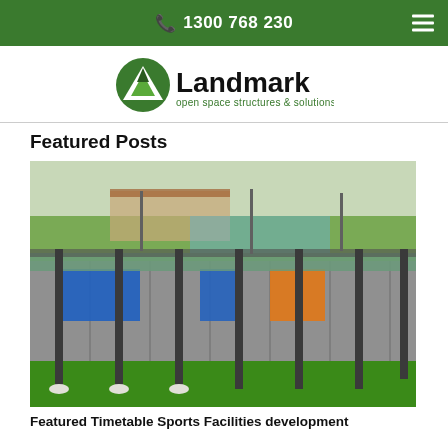1300 768 230
[Figure (logo): Landmark open space structures & solutions logo with green mountain/tent icon and black bold text]
Featured Posts
[Figure (photo): Aerial/elevated view of a school or community facility with colourful corrugated steel shade structure panels in blue, orange and grey with dark steel posts on green grass, trees and sports facilities visible in background]
Featured Timetable Sports Facilities development